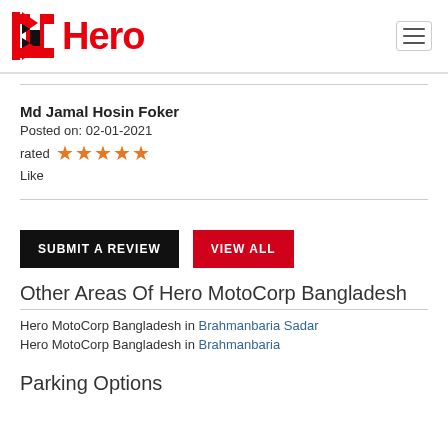[Figure (logo): Hero MotoCorp logo with red angular mark and red 'Hero' text]
Md Jamal Hosin Foker
Posted on: 02-01-2021
rated ★★★★★
Like
SUBMIT A REVIEW   VIEW ALL
Other Areas Of Hero MotoCorp Bangladesh
Hero MotoCorp Bangladesh in Brahmanbaria Sadar
Hero MotoCorp Bangladesh in Brahmanbaria
Parking Options